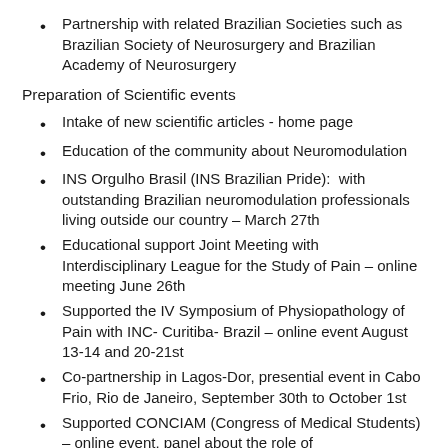Partnership with related Brazilian Societies such as Brazilian Society of Neurosurgery and Brazilian Academy of Neurosurgery
Preparation of Scientific events
Intake of new scientific articles - home page
Education of the community about Neuromodulation
INS Orgulho Brasil (INS Brazilian Pride):  with outstanding Brazilian neuromodulation professionals living outside our country – March 27th
Educational support Joint Meeting with Interdisciplinary League for the Study of Pain – online meeting June 26th
Supported the IV Symposium of Physiopathology of Pain with INC- Curitiba- Brazil – online event August 13-14 and 20-21st
Co-partnership in Lagos-Dor, presential event in Cabo Frio, Rio de Janeiro, September 30th to October 1st
Supported CONCIAM (Congress of Medical Students) – online event, panel about the role of Neuromodulation – Oct 27th